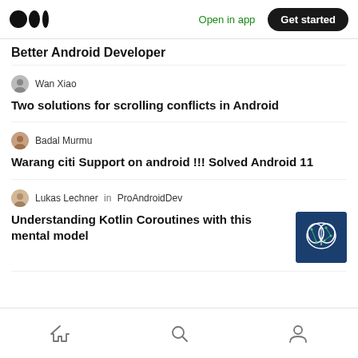Medium logo | Open in app | Get started
Better Android Developer
Wan Xiao
Two solutions for scrolling conflicts in Android
Badal Murmu
Warang citi Support on android !!! Solved Android 11
Lukas Lechner in ProAndroidDev
Understanding Kotlin Coroutines with this mental model
[Figure (illustration): Thumbnail image of a brain illustration on dark blue background]
Home | Search | Profile navigation icons